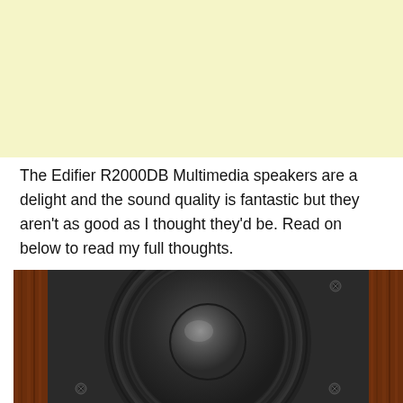[Figure (photo): Yellow/cream colored banner at top of page]
The Edifier R2000DB Multimedia speakers are a delight and the sound quality is fantastic but they aren't as good as I thought they'd be. Read on below to read my full thoughts.
[Figure (photo): Close-up photograph of a speaker woofer/driver with a black cone, rubber surround, and dome dust cap, mounted in a wood-grain (reddish-brown) cabinet panel]